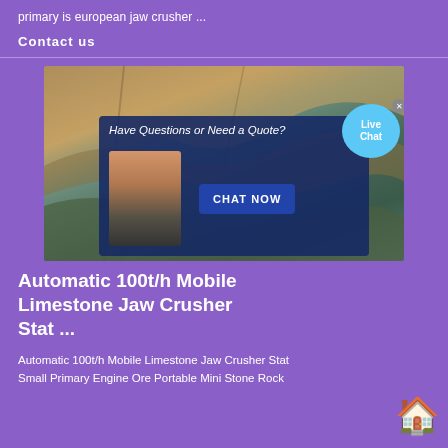primary is european jaw crusher ...
Contact us
[Figure (screenshot): Web page screenshot showing a quarry mining background image with an overlaid chat popup dialog reading 'Have Questions or Need a Quote?' with a woman wearing a headset and a 'CHAT NOW' button, plus a 'Live Chat' bubble in the top right corner.]
Automatic 100t/h Mobile Limestone Jaw Crusher Stat ...
Automatic 100t/h Mobile Limestone Jaw Crusher Stat Small Primary Engine Ore Portable Mini Stone Rock